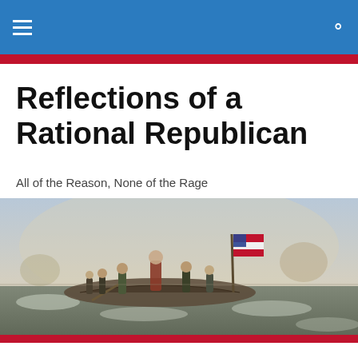Reflections of a Rational Republican
All of the Reason, None of the Rage
[Figure (illustration): Historical painting banner showing soldiers crossing a river in a boat, with an American flag, in the style of Washington Crossing the Delaware]
The Conflict over Iran’s Nuclear Program Continues
Posted by Sean Patrick Hazlett